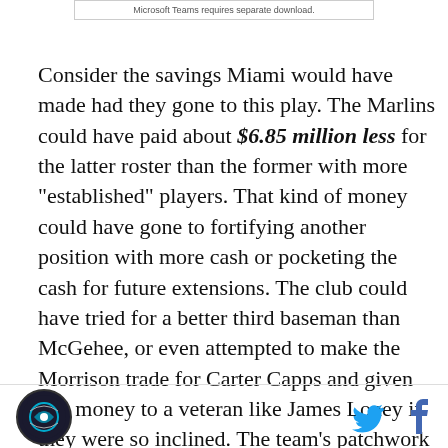[Figure (screenshot): Ad banner: Microsoft Teams requires separate download.]
Consider the savings Miami would have made had they gone to this play. The Marlins could have paid about $6.85 million less for the latter roster than the former with more "established" players. That kind of money could have gone to fortifying another position with more cash or pocketing the cash for future extensions. The club could have tried for a better third baseman than McGehee, or even attempted to make the Morrison trade for Carter Capps and given this money to a veteran like James Loney if they were so inclined. The team's patchwork approach did not work, even if the platoon idea itself was a good call. They simply spent too much on nothing.
SB Nation logo | Twitter icon | Facebook icon